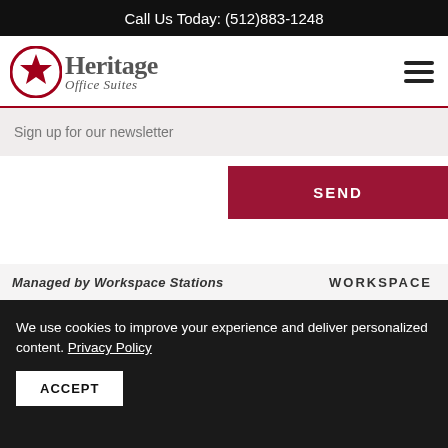Call Us Today: (512)883-1248
[Figure (logo): Heritage Office Suites logo with red star circle icon and text]
Sign up for our newsletter
SEND
We use cookies to improve your experience and deliver personalized content. Privacy Policy
ACCEPT